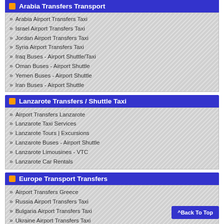Arabia Transfers Transport
Arabia Airport Transfers Taxi
Israel Airport Transfers Taxi
Jordan Airport Transfers Taxi
Syria Airport Transfers Taxi
Iraq Buses - Airport Shuttle/Taxi
Oman Buses - Airport Shuttle
Yemen Buses - Airport Shuttle
Iran Buses - Airport Shuttle
Lanzarote Transfers / Shuttle Taxi
Airport Transfers Lanzarote
Lanzarote Taxi Services
Lanzarote Tours | Excursions
Lanzarote Buses - Airport Shuttle
Lanzarote Limousines - VTC
Lanzarote Car Rentals
Europe Transport Transfers
Airport Transfers Greece
Russia Airport Transfers Taxi
Bulgaria Airport Transfers Taxi
Ukraine Airport Transfers Taxi
Norway Airport Transfers Taxi
Sweden Airport Transfers Taxi
Austria Airport Transfers Taxi